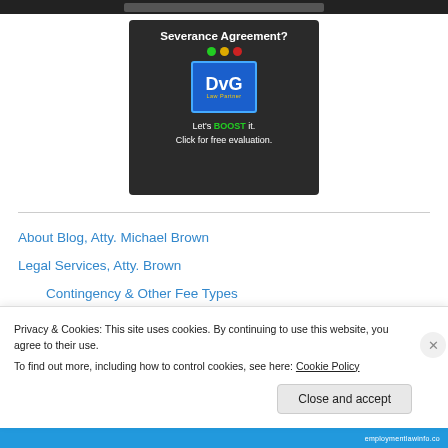[Figure (advertisement): DvG Law Partner advertisement banner for Severance Agreement services with 'Let's BOOST it. Click for free evaluation.' text]
About Blog, Atty. Michael Brown
Legal Services, Atty. Brown
Contingency & Other Fee Types
Privacy & Cookies: This site uses cookies. By continuing to use this website, you agree to their use. To find out more, including how to control cookies, see here: Cookie Policy
Close and accept